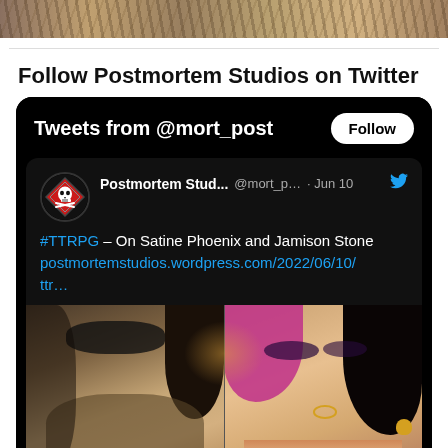[Figure (photo): Partial photo of a person (cropped at top of page), showing textured background with animal print or hair pattern]
Follow Postmortem Studios on Twitter
[Figure (screenshot): Twitter widget screenshot showing 'Tweets from @mort_post' header with Follow button, and a tweet from Postmortem Stud... @mort_p... Jun 10 with text '#TTRPG – On Satine Phoenix and Jamison Stone postmortemstudios.wordpress.com/2022/06/10/ttr...' and a photo of two people — a man with a beard and eyepatch on the left, and a woman with pink hair and makeup on the right]